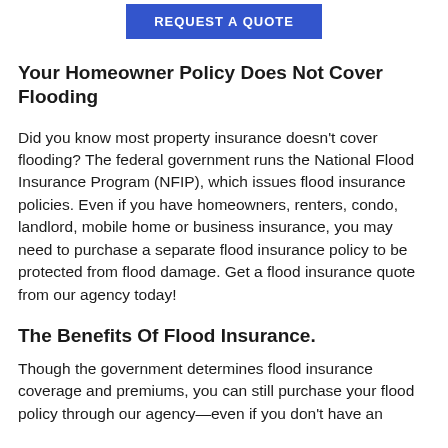[Figure (other): Blue 'REQUEST A QUOTE' button centered at top of page]
Your Homeowner Policy Does Not Cover Flooding
Did you know most property insurance doesn't cover flooding? The federal government runs the National Flood Insurance Program (NFIP), which issues flood insurance policies. Even if you have homeowners, renters, condo, landlord, mobile home or business insurance, you may need to purchase a separate flood insurance policy to be protected from flood damage. Get a flood insurance quote from our agency today!
The Benefits Of Flood Insurance.
Though the government determines flood insurance coverage and premiums, you can still purchase your flood policy through our agency—even if you don't have an